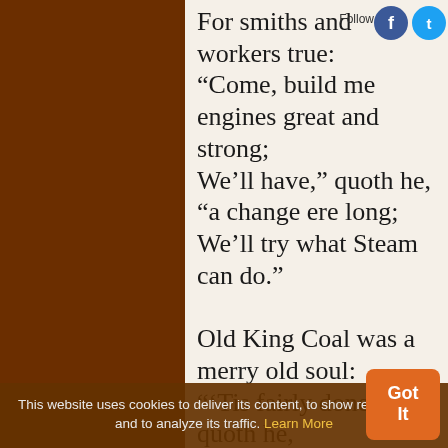For smiths and workers true:
“Come, build me engines great and strong;
We’ll have,” quoth he,
“a change ere long;
We’ll try what Steam can do.”

Old King Coal was a merry old soul:
“‘Tis fairly done,” quoth he,
When he saw the myriad wheels at work
O’er all the land and sea;
They spared the bones and strength of men,
This website uses cookies to deliver its content, to show relevant ads and to analyze its traffic. Learn More